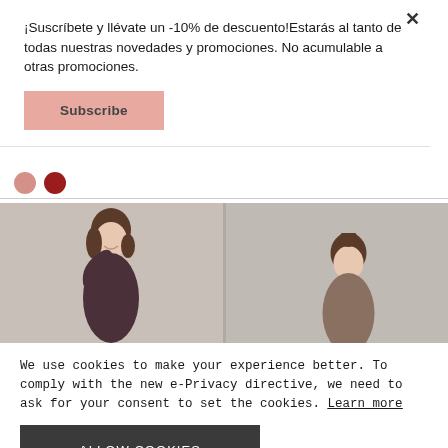¡Suscríbete y llévate un -10% de descuento!Estarás al tanto de todas nuestras novedades y promociones. No acumulable a otras promociones.
Subscribe
[Figure (photo): Two photos of women models side by side against a light grey background]
We use cookies to make your experience better. To comply with the new e-Privacy directive, we need to ask for your consent to set the cookies. Learn more
ALLOW COOKIES